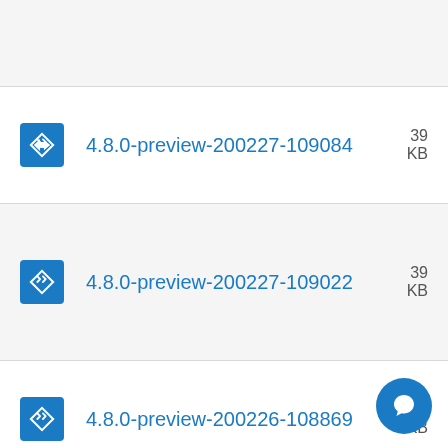4.8.0-preview-200227-109084
4.8.0-preview-200227-109022
4.8.0-preview-200226-108869